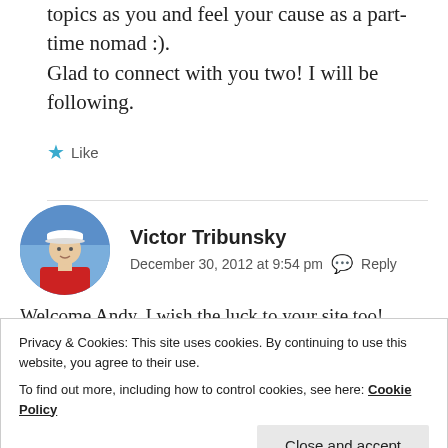topics as you and feel your cause as a part-time nomad :). Glad to connect with you two! I will be following.
★ Like
Victor Tribunsky
December 30, 2012 at 9:54 pm  Reply
Welcome Andy. I wish the luck to your site too!
★ Like
Privacy & Cookies: This site uses cookies. By continuing to use this website, you agree to their use.
To find out more, including how to control cookies, see here: Cookie Policy
Close and accept
shelley